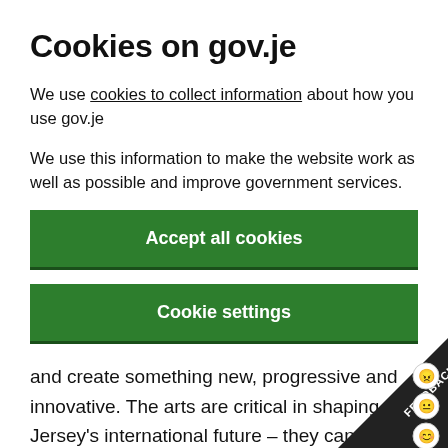Cookies on gov.je
We use cookies to collect information about how you use gov.je
We use this information to make the website work as well as possible and improve government services.
Accept all cookies
Cookie settings
and create something new, progressive and innovative. The arts are critical in shaping Jersey's international future – they can play a defining role in fostering cultural relations which in turn influence power and economic development. But more